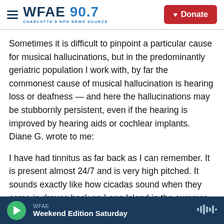WFAE 90.7 — CHARLOTTE'S NPR NEWS SOURCE | Donate
Sometimes it is difficult to pinpoint a particular cause for musical hallucinations, but in the predominantly geriatric population I work with, by far the commonest cause of musical hallucination is hearing loss or deafness — and here the hallucinations may be stubbornly persistent, even if the hearing is improved by hearing aids or cochlear implants. Diane G. wrote to me:
I have had tinnitus as far back as I can remember. It is present almost 24/7 and is very high pitched. It sounds exactly like how cicadas sound when they come in droves back on Long Island in the summer
WFAE — Weekend Edition Saturday